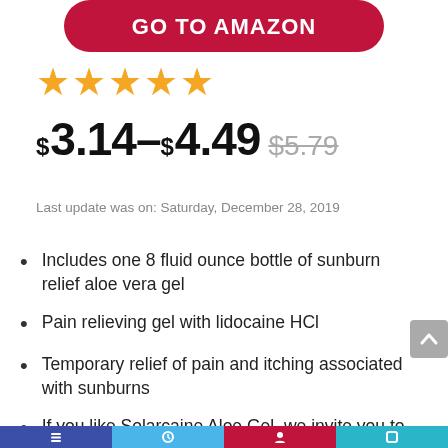[Figure (other): Red rounded button with text GO TO AMAZON in white bold uppercase letters]
[Figure (other): Five gold/orange star rating icons]
$3.14–$4.49 $5.79
Last update was on: Saturday, December 28, 2019
Includes one 8 fluid ounce bottle of sunburn relief aloe vera gel
Pain relieving gel with lidocaine HCl
Temporary relief of pain and itching associated with sunburns
If you like Solarcaine Aloe Gel, we invite you to try Solimo Sunburn Relief Gel with Aloe Vera